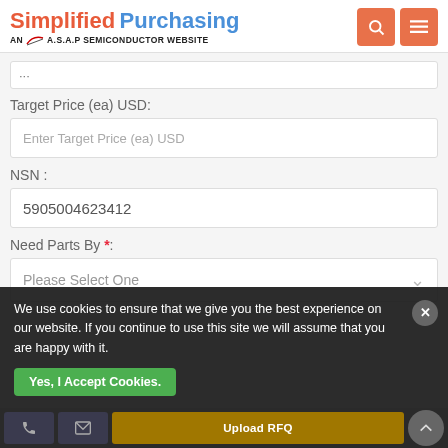Simplified Purchasing — AN A.S.A.P SEMICONDUCTOR WEBSITE
Target Price (ea) USD:
Enter Target Price (ea) USD
NSN :
5905004623412
Need Parts By *:
Please Select One
We use cookies to ensure that we give you the best experience on our website. If you continue to use this site we will assume that you are happy with it.
Yes, I Accept Cookies.
Upload RFQ